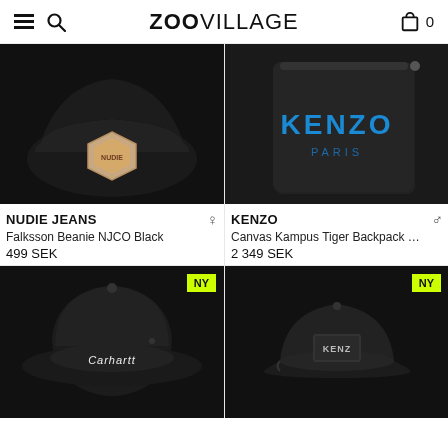ZOOVILLAGE
[Figure (photo): Nudie Jeans Falksson Beanie NJCO Black - black beanie with diamond-shaped logo patch on dark background]
NUDIE JEANS
Falksson Beanie NJCO Black
499 SEK
[Figure (photo): Kenzo Canvas Kampus Tiger Backpack - black nylon bag with blue KENZO PARIS text on dark background]
KENZO
Canvas Kampus Tiger Backpack B...
2 349 SEK
[Figure (photo): Carhartt black bucket hat with white Carhartt script embroidery, NY badge]
[Figure (photo): Kenzo black baseball cap with woven logo patch, NY badge]